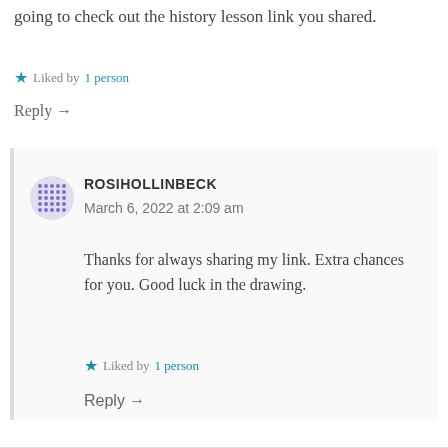going to check out the history lesson link you shared.
★ Liked by 1 person
Reply →
ROSIHOLLINBECK
March 6, 2022 at 2:09 am
Thanks for always sharing my link. Extra chances for you. Good luck in the drawing.
★ Liked by 1 person
Reply →